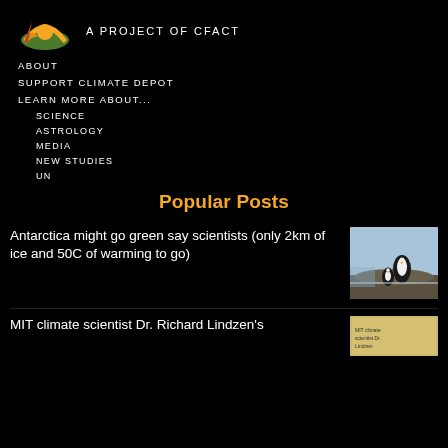A PROJECT OF CFACT
ABOUT
SUPPORT CLIMATE DEPOT
LEARN MORE ABOUT...
SCIENCE
ASTROLOGY
MEDIA
NEW STUDIES
UN
Popular Posts
Antarctica might go green say scientists (only 2km of ice and 50C of warming to go)
[Figure (photo): Photo of penguins in Antarctica]
MIT climate scientist Dr. Richard Lindzen's